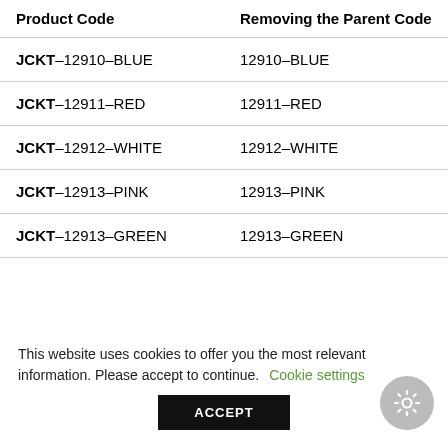| Product Code | Removing the Parent Code |
| --- | --- |
| JCKT–12910–BLUE | 12910–BLUE |
| JCKT–12911–RED | 12911–RED |
| JCKT–12912–WHITE | 12912–WHITE |
| JCKT–12913–PINK | 12913–PINK |
| JCKT–12913–GREEN | 12913–GREEN |
This website uses cookies to offer you the most relevant information. Please accept to continue. Cookie settings ACCEPT